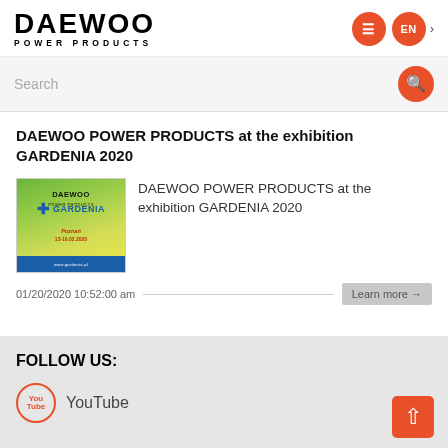DAEWOO POWER PRODUCTS
DAEWOO POWER PRODUCTS at the exhibition GARDENIA 2020
[Figure (photo): Thumbnail image for DAEWOO POWER PRODUCTS at the exhibition GARDENIA 2020, showing the Gardenia event branding with green background and blue cross logo]
DAEWOO POWER PRODUCTS at the exhibition GARDENIA 2020
01/20/2020 10:52:00 am
Learn more →
FOLLOW US:
YouTube